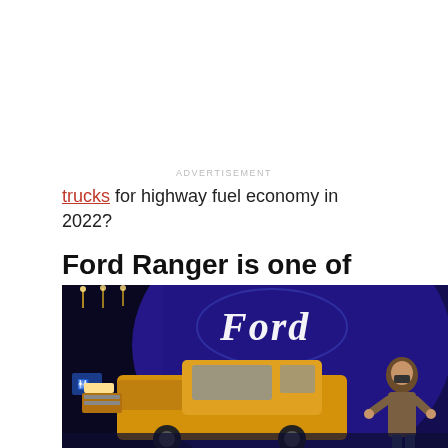ADVERTISEMENT
trucks for highway fuel economy in 2022?
Ford Ranger is one of the best compact pickup trucks for highway fuel economy
[Figure (photo): Ford branded auto show display with a yellow Ford Ranger pickup truck and a person in a mask standing nearby, with the illuminated Ford logo on a dark blue background]